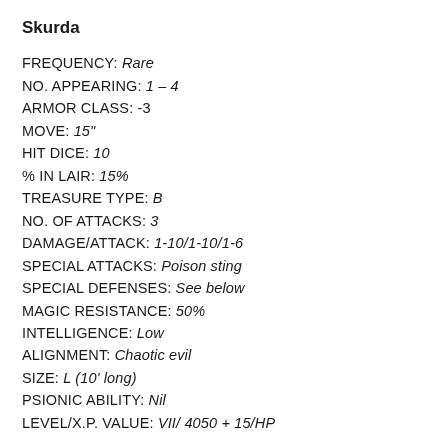Skurda
FREQUENCY: Rare
NO. APPEARING: 1 – 4
ARMOR CLASS: -3
MOVE: 15"
HIT DICE: 10
% IN LAIR: 15%
TREASURE TYPE: B
NO. OF ATTACKS: 3
DAMAGE/ATTACK: 1-10/1-10/1-6
SPECIAL ATTACKS: Poison sting
SPECIAL DEFENSES: See below
MAGIC RESISTANCE: 50%
INTELLIGENCE: Low
ALIGNMENT: Chaotic evil
SIZE: L (10' long)
PSIONIC ABILITY: Nil
LEVEL/X.P. VALUE: VII/ 4050 + 15/HP
Skurda are fearsome demons that are used as guards by several Abyssal rulers, notably Graz'zt and Lolth. Skurda